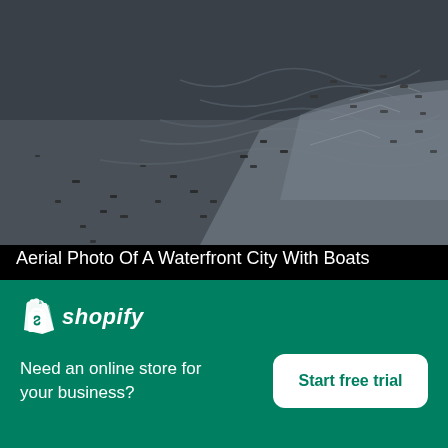[Figure (photo): Aerial photograph of a waterfront city with numerous boats scattered across dark water, with ripple patterns visible]
Aerial Photo Of A Waterfront City With Boats
High resolution download ↓
[Figure (photo): Partial view of another photo below, showing a grey sky or water scene]
[Figure (logo): Shopify logo — shopping bag icon with 'shopify' wordmark in white italic text on green background]
Need an online store for your business?
Start free trial